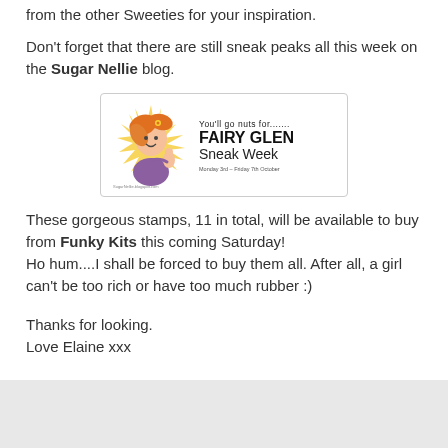from the other Sweeties for your inspiration.
Don't forget that there are still sneak peaks all this week on the Sugar Nellie blog.
[Figure (illustration): Banner image for Fairy Glen Sneak Week showing a cartoon girl with orange hair holding a small figure, with text 'You'll go nuts for....... FAIRY GLEN Sneak Week' and small date text at the bottom.]
These gorgeous stamps, 11 in total, will be available to buy from Funky Kits this coming Saturday!
Ho hum....I shall be forced to buy them all. After all, a girl can't be too rich or have too much rubber :)
Thanks for looking.
Love Elaine xxx